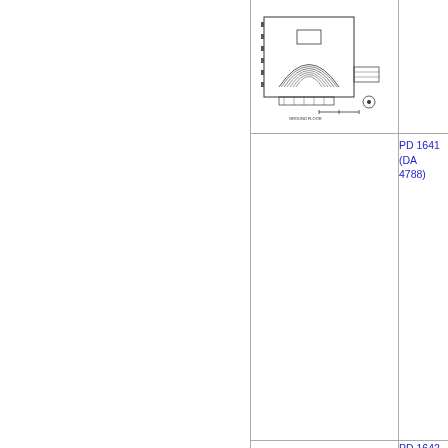[Figure (schematic): Architectural floor plan / site plan drawing showing a building with semicircular auditorium-style seating arrangement, surrounding structures, and scale elements. Black and white line drawing on white background.]
PD 1641 (DA 4788)
[Figure (engineering-diagram): Aged/yellowed document or drawing on tan/beige paper with faint architectural line drawings visible. Dark border around the document.]
PD 1642 (DA